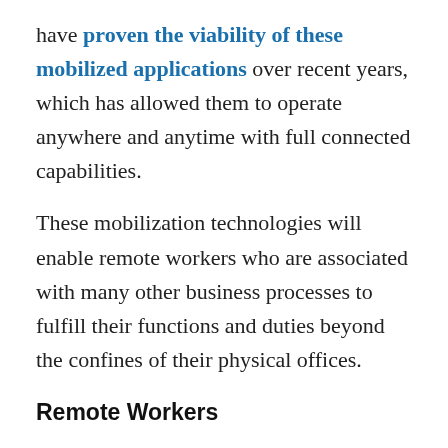have proven the viability of these mobilized applications over recent years, which has allowed them to operate anywhere and anytime with full connected capabilities.
These mobilization technologies will enable remote workers who are associated with many other business processes to fulfill their functions and duties beyond the confines of their physical offices.
Remote Workers
We are very lucky that this pandemic didn’t occur 25 years ago. One of the truly remarkable things we have witnessed is the ability for so many workers to perform so many of their duties remotely with